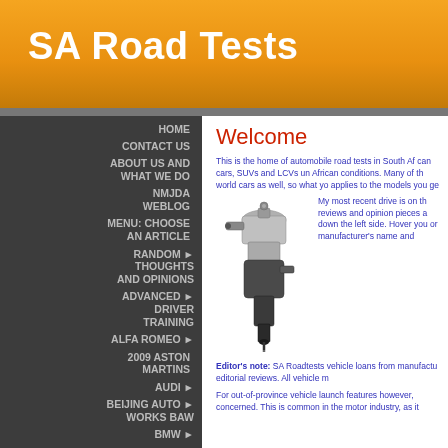SA Road Tests
HOME
CONTACT US
ABOUT US AND WHAT WE DO
NMJDA WEBLOG
MENU: CHOOSE AN ARTICLE
RANDOM THOUGHTS AND OPINIONS
ADVANCED DRIVER TRAINING
ALFA ROMEO
2009 ASTON MARTINS
AUDI
BEIJING AUTO WORKS BAW
BMW
Welcome
This is the home of automobile road tests in South Africa. can cars, SUVs and LCVs under typical South African conditions. Many of the world cars as well, so what you read here applies to the models you get...
[Figure (photo): Fuel injector component, black and silver metallic automotive part]
My most recent drive is on the reviews and opinion pieces are down the left side. Hover you or manufacturer's name and...
Editor's note: SA Roadtests vehicle loans from manufacturers editorial reviews. All vehicle m
For out-of-province vehicle launch features however, concerned. This is common in the motor industry, as it